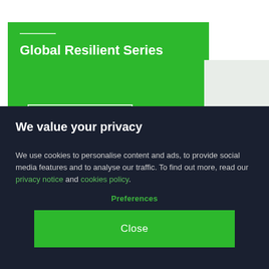Global Resilient Series
We value your privacy
We use cookies to personalise content and ads, to provide social media features and to analyse our traffic. To find out more, read our privacy notice and cookies policy.
Preferences
Close